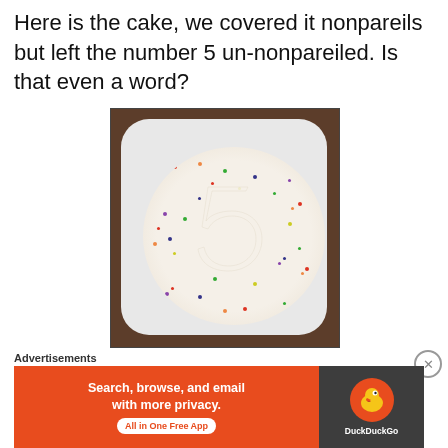Here is the cake, we covered it nonpareils but left the number 5 un-nonpareiled. Is that even a word?
[Figure (photo): A round white-frosted cake covered in colorful nonpareils (sprinkles) sitting on a white square plate on a wooden surface. The number 5 is visible in the center of the cake, left undecorated (no sprinkles).]
Advertisements
[Figure (screenshot): DuckDuckGo advertisement banner: orange background with text 'Search, browse, and email with more privacy. All in One Free App' and DuckDuckGo logo on dark right panel.]